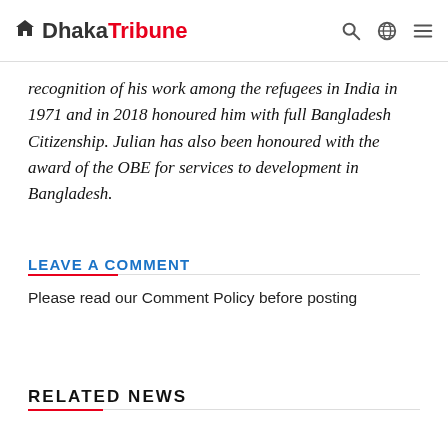Dhaka Tribune
recognition of his work among the refugees in India in 1971 and in 2018 honoured him with full Bangladesh Citizenship. Julian has also been honoured with the award of the OBE for services to development in Bangladesh.
LEAVE A COMMENT
Please read our Comment Policy before posting
RELATED NEWS